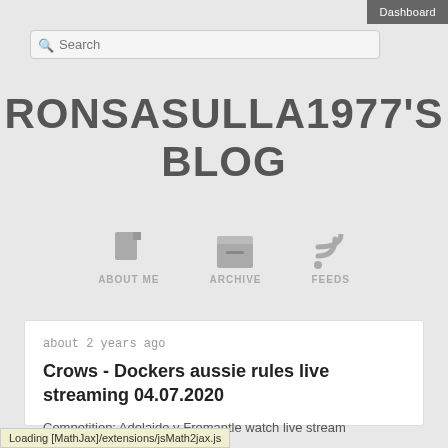Dashboard
Search
RONSASULLA1977'S BLOG
[Figure (infographic): Navigation icons: About Me (document icon), Archive (box icon), Feeds (RSS icon)]
about 2 years ago
Crows - Dockers aussie rules live streaming 04.07.2020
Competition: Adelaide v Fremantle watch live stream
7/04/2020
Loading [MathJax]/extensions/jsMath2jax.js